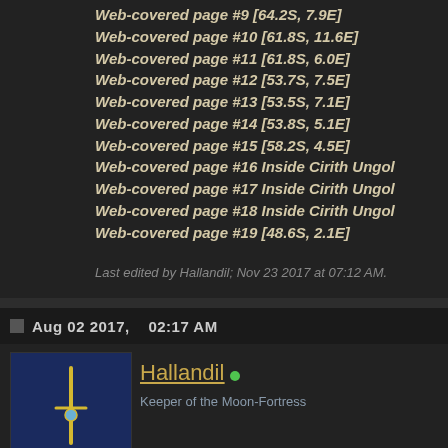Web-covered page #9 [64.2S, 7.9E]
Web-covered page #10 [61.8S, 11.6E]
Web-covered page #11 [61.8S, 6.0E]
Web-covered page #12 [53.7S, 7.5E]
Web-covered page #13 [53.5S, 7.1E]
Web-covered page #14 [53.8S, 5.1E]
Web-covered page #15 [58.2S, 4.5E]
Web-covered page #16 Inside Cirith Ungol
Web-covered page #17 Inside Cirith Ungol
Web-covered page #18 Inside Cirith Ungol
Web-covered page #19 [48.6S, 2.1E]
Last edited by Hallandil; Nov 23 2017 at 07:12 AM.
Aug 02 2017,    02:17 AM
Hallandil •
Keeper of the Moon-Fortress